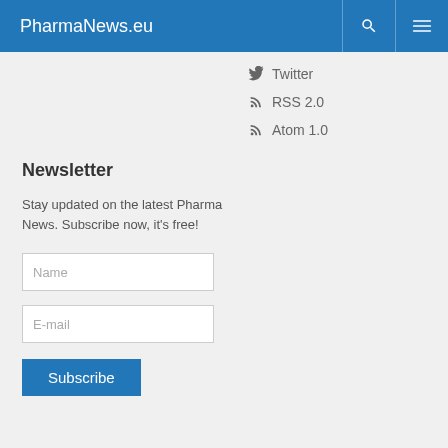PharmaNews.eu
Twitter
RSS 2.0
Atom 1.0
Newsletter
Stay updated on the latest Pharma News. Subscribe now, it's free!
Name
E-mail
Subscribe